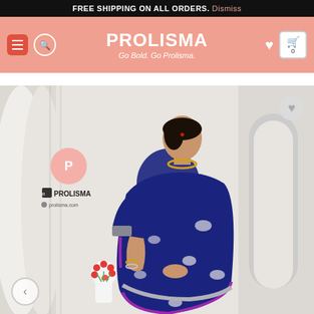FREE SHIPPING ON ALL ORDERS. Dismiss
PROLISMA
Go Bold. Go Prolisma.
[Figure (photo): A woman wearing a navy blue saree with silver bird motifs and a purple border, Prolisma branding visible in upper left corner of product image, red flowers on lower left, white architectural background]